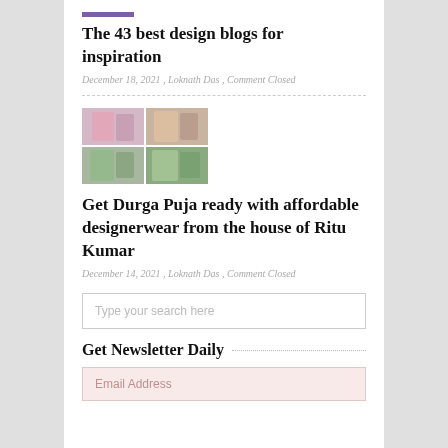The 43 best design blogs for inspiration
December 18, 2021 , Loknath Das , Comment Closed
[Figure (photo): Grid of fashion photos showing women in colorful dresses]
Get Durga Puja ready with affordable designerwear from the house of Ritu Kumar
December 14, 2021 , Loknath Das , Comment Closed
Type your search here
Get Newsletter Daily
Email Address